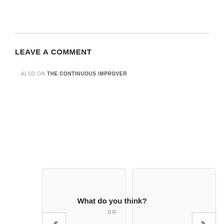LEAVE A COMMENT
ALSO ON THE CONTINUOUS IMPROVER
[Figure (other): Two card placeholders side by side with left and right navigation arrows for a comment carousel]
What do you think?
0 Responses